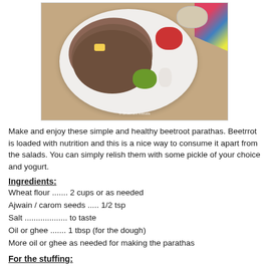[Figure (photo): Overhead photo of beetroot parathas on a white plate with butter on top, a small bowl of beetroot pieces, a green chutney bowl, a white gravy boat, and a spice bowl, on a wooden surface with colorful cloth in background. Watermark reads © Shobha's masala.]
Make and enjoy these simple and healthy beetroot parathas. Beetrrot is loaded with nutrition and this is a nice way to consume it apart from the salads. You can simply relish them with some pickle of your choice and yogurt.
Ingredients:
Wheat flour ....... 2 cups or as needed
Ajwain / carom seeds ..... 1/2 tsp
Salt ................... to taste
Oil or ghee ....... 1 tbsp (for the dough)
More oil or ghee as needed for making the parathas
For the stuffing: